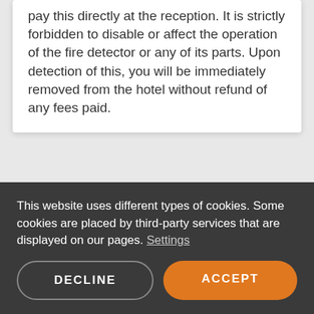pay this directly at the reception. It is strictly forbidden to disable or affect the operation of the fire detector or any of its parts. Upon detection of this, you will be immediately removed from the hotel without refund of any fees paid.
ROOMSERVICE
View the menu here. Room service is available from 12:00 PM to 9:00 PM. To order room service, please
This website uses different types of cookies. Some cookies are placed by third-party services that are displayed on our pages. Settings